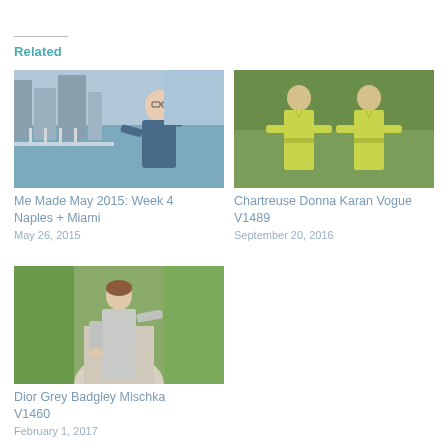Related
[Figure (photo): Woman in blue tank top standing on a balcony with city skyline and water in background]
Me Made May 2015: Week 4 Naples + Miami
May 26, 2015
[Figure (photo): Two women in chartreuse/yellow-green jumpsuits posing with hands on hips, mirrored image]
Chartreuse Donna Karan Vogue V1489
September 20, 2016
[Figure (photo): Woman in grey long-sleeve dress standing on a path with greenery in background]
Dior Grey Badgley Mischka V1460
February 1, 2017